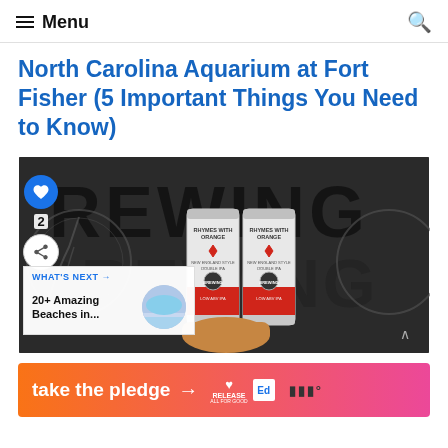Menu
North Carolina Aquarium at Fort Fisher (5 Important Things You Need to Know)
[Figure (photo): A hand holding two silver beer cans labeled 'Rhymes with Orange – New England Style Double IPA' in front of a large black and white brewing sign. Social sharing icons and a 'What's Next' overlay showing '20+ Amazing Beaches in...' with a thumbnail of a beach are visible on the left side.]
[Figure (screenshot): An advertisement banner with orange-to-pink gradient reading 'take the pledge →' with Release and Ed logos on the right, and additional text/logo on the far right.]